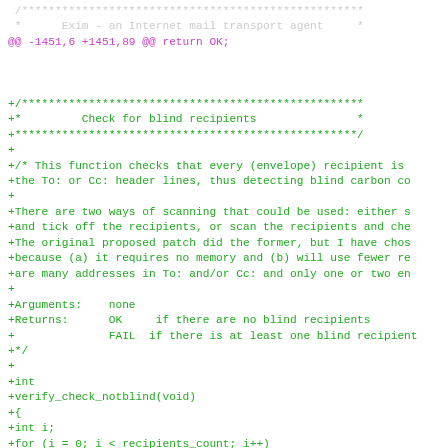[Figure (screenshot): A code diff showing additions to an Exim mail transport agent source file. Context lines show a C comment block header, followed by a diff hunk header in magenta, then added lines in green including a new function verify_check_notblind() with documentation comments and initial code.]